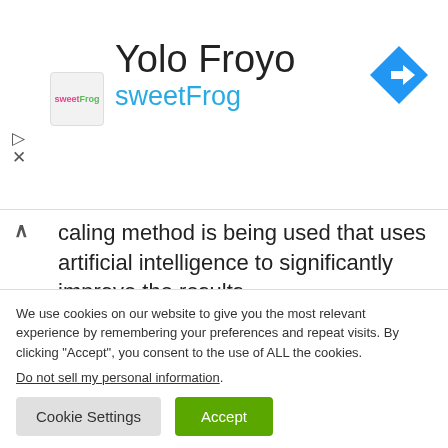[Figure (logo): sweetFrog frozen yogurt advertisement banner with logo, 'Yolo Froyo' title, 'sweetFrog' subtitle, navigation arrow icon on the right, and collapse/close controls on the left.]
caling method is being used that uses artificial intelligence to significantly improve the results.
The patent does not yet conclusively show how Sony could implement the new method on the PlayStation 5. The PlayStation 4 Pro
We use cookies on our website to give you the most relevant experience by remembering your preferences and repeat visits. By clicking “Accept”, you consent to the use of ALL the cookies.
Do not sell my personal information.
Cookie Settings
Accept